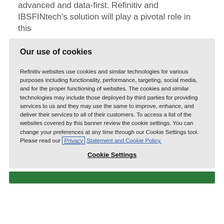advanced and data-first. Refinitiv and IBSFINtech's solution will play a pivotal role in this
Our use of cookies
Refinitiv websites use cookies and similar technologies for various purposes including functionality, performance, targeting, social media, and for the proper functioning of websites. The cookies and similar technologies may include those deployed by third parties for providing services to us and they may use the same to improve, enhance, and deliver their services to all of their customers. To access a list of the websites covered by this banner review the cookie settings. You can change your preferences at any time through our Cookie Settings tool. Please read our Privacy Statement and Cookie Policy.
Cookie Settings